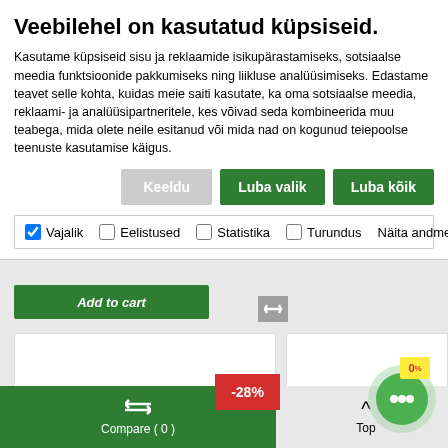Veebilehel on kasutatud küpsiseid.
Kasutame küpsiseid sisu ja reklaamide isikupärastamiseks, sotsiaalse meedia funktsioonide pakkumiseks ning liikluse analüüsimiseks. Edastame teavet selle kohta, kuidas meie saiti kasutate, ka oma sotsiaalse meedia, reklaami- ja analüüsipartneritele, kes võivad seda kombineerida muu teabega, mida olete neile esitanud või mida nad on kogunud teiepoolse teenuste kasutamise käigus.
Keeldu | Luba valik | Luba kõik
✓ Vajalik | Eelistused | Statistika | Turundus | Näita andmeid ∨
[Figure (screenshot): Background e-commerce page with Add to cart button, product cards, -28% discount badge, green chat widget, and bottom navigation bar with Compare(0) and Top buttons]